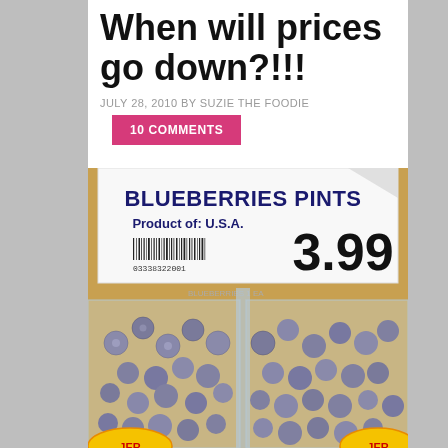When will prices go down?!!!
JULY 28, 2010 BY SUZIE THE FOODIE
10 COMMENTS
[Figure (photo): Grocery store price tag showing BLUEBERRIES PINTS, Product of: U.S.A., barcode 03338322001, priced at 3.99, with two clear plastic pint containers of blueberries below bearing Jersey brand labels]